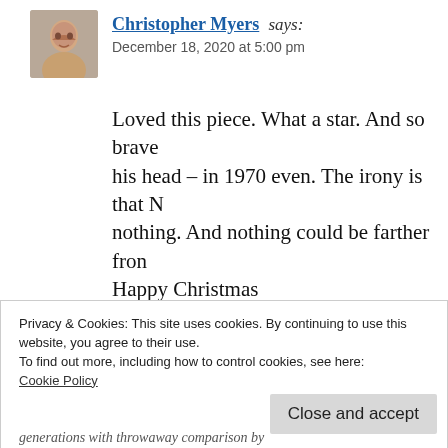[Figure (photo): Profile photo of Christopher Myers, a man smiling]
Christopher Myers says:
December 18, 2020 at 5:00 pm
Loved this piece. What a star. And so brave his head – in 1970 even. The irony is that N nothing. And nothing could be farther from Happy Christmas
★ Like
👍 8 👎 0 ℹ Rate This
Reply
Privacy & Cookies: This site uses cookies. By continuing to use this website, you agree to their use.
To find out more, including how to control cookies, see here:
Cookie Policy
Close and accept
generations with throwaway comparison by